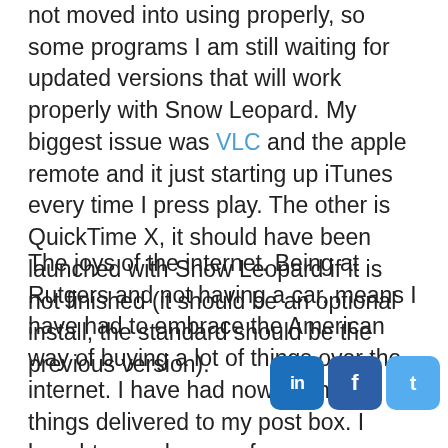not moved into using properly, so some programs I am still waiting for updated versions that will work properly with Snow Leopard. My biggest issue was VLC and the apple remote and it just starting up iTunes every time I press play. The other is QuickTime X, it should have been launched with Snow Leopard if it is not finished (it should be an optional install, the standard should be the previous version).
The joys of the internet. Being at Rutgers and not having a car, means I have had to embrace the American way of buying a lot of things over the internet. I have had now countless things delivered to my post box. I bought new chargers for my cellphones, a new battery for my la... books etc. all via websites like Amazon, Ebay and